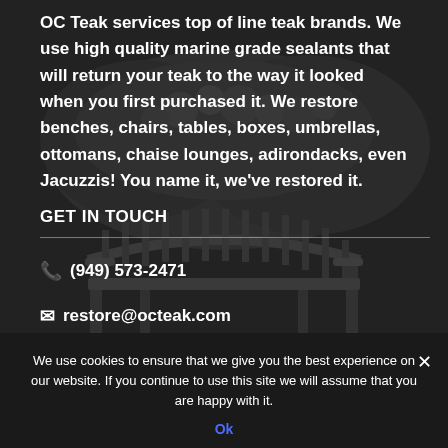OC Teak services top of line teak brands. We use high quality marine grade sealants that will return your teak to the way it looked when you first purchased it. We restore benches, chairs, tables, boxes, umbrellas, ottomans, chaise lounges, adirondacks, even Jacuzzis! You name it, we've restored it.
GET IN TOUCH
📞 (949) 573-2471
✉ restore@octeak.com
We use cookies to ensure that we give you the best experience on our website. If you continue to use this site we will assume that you are happy with it.
Ok